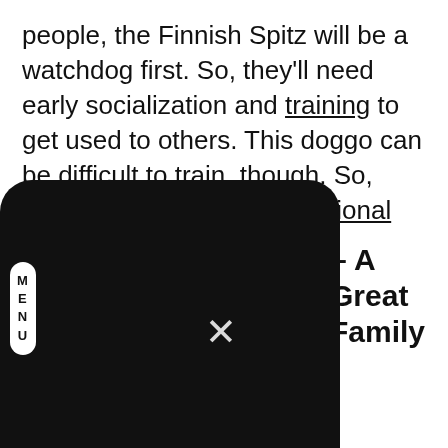people, the Finnish Spitz will be a watchdog first. So, they'll need early socialization and training to get used to others. This doggo can be difficult to train, though. So, you'll want to hire a professional dog trainer to help you out.
[Figure (screenshot): A dark overlay UI element showing a navigation menu open state with a MENU label on the left and an X close button in the center]
A Great Family
medium-sized dog where males are slightly bigger and heavier than females. For example, males can grow to be about 17.5 to 20 inches tall and weigh between 25 and 33 pounds. On the other hand, females can grow to be about 15.5 to 18